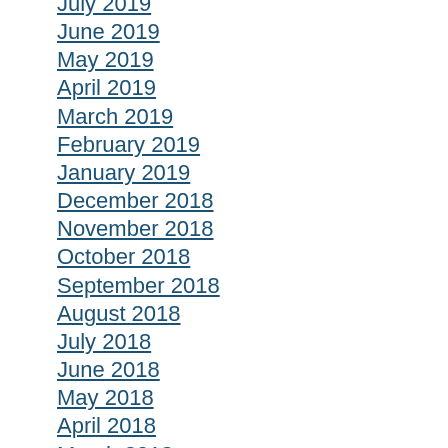July 2019
June 2019
May 2019
April 2019
March 2019
February 2019
January 2019
December 2018
November 2018
October 2018
September 2018
August 2018
July 2018
June 2018
May 2018
April 2018
March 2018
February 2018
January 2018